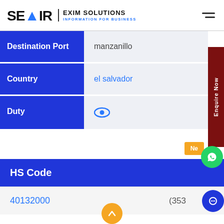[Figure (logo): SEAIR Exim Solutions logo with blue arrow and text 'INFORMATION FOR BUSINESS']
| Field | Value |
| --- | --- |
| Destination Port | manzanillo |
| Country | el salvador |
| Duty | (eye icon) |
HS Code
40132000
(353